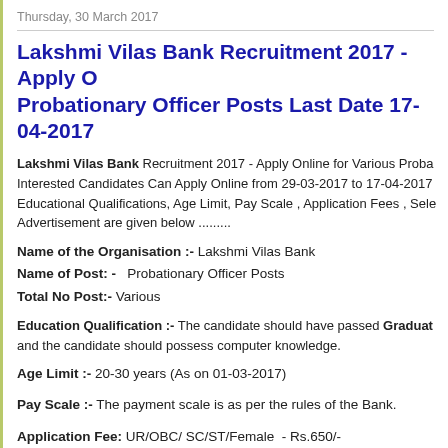Thursday, 30 March 2017
Lakshmi Vilas Bank Recruitment 2017 - Apply Online for Various Probationary Officer Posts Last Date 17-04-2017
Lakshmi Vilas Bank Recruitment 2017 - Apply Online for Various Probationary Officer Posts. Interested Candidates Can Apply Online from 29-03-2017 to 17-04-2017. Educational Qualifications, Age Limit, Pay Scale , Application Fees , Selection Procedure as per Advertisement are given below .........
Name of the Organisation :- Lakshmi Vilas Bank
Name of Post: -  Probationary Officer Posts
Total No Post:- Various
Education Qualification :- The candidate should have passed Graduation and the candidate should possess computer knowledge.
Age Limit :- 20-30 years (As on 01-03-2017)
Pay Scale :- The payment scale is as per the rules of the Bank.
Application Fee: UR/OBC/ SC/ST/Female  - Rs.650/-